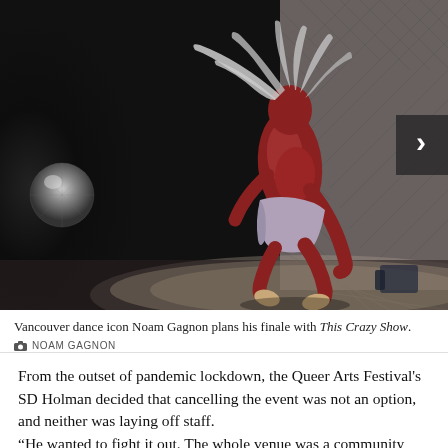[Figure (photo): A dancer with long flowing hair in motion on a dark stage. The performer appears to have reddish body paint, wearing a wrapped cloth around the waist, mid-leap on a lit stage floor. A disco ball is visible on the left, and a tiled wall background on the right. A dark navigation arrow overlay is on the upper right.]
Vancouver dance icon Noam Gagnon plans his finale with This Crazy Show.
NOAM GAGNON
From the outset of pandemic lockdown, the Queer Arts Festival's SD Holman decided that cancelling the event was not an option, and neither was laying off staff.
“He wanted to fight it out. The whole venue was a community hub and to